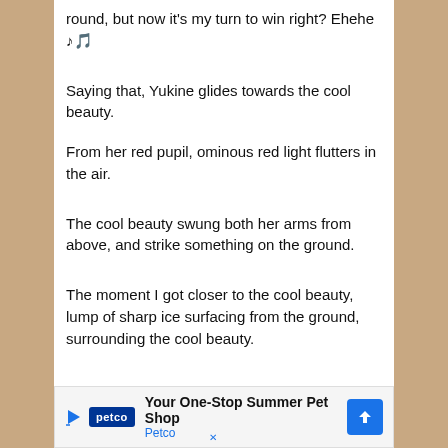round, but now it's my turn to win right? Ehehe ♪🎵
Saying that, Yukine glides towards the cool beauty.
From her red pupil, ominous red light flutters in the air.
The cool beauty swung both her arms from above, and strike something on the ground.
The moment I got closer to the cool beauty, lump of sharp ice surfacing from the ground, surrounding the cool beauty.
[Figure (other): Petco advertisement banner: Your One-Stop Summer Pet Shop, Petco]